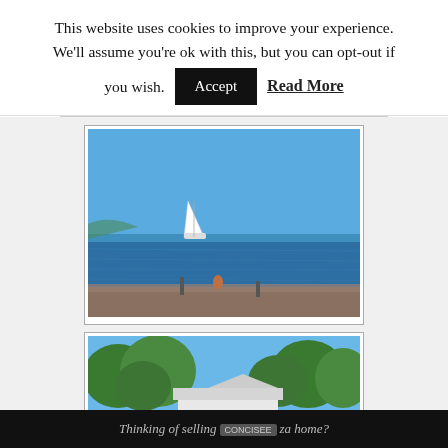This website uses cookies to improve your experience. We'll assume you're ok with this, but you can opt-out if you wish. Accept  Read More
[Figure (photo): Seascape photo showing a blue sky, calm blue sea with a white sailboat anchored offshore, and a rocky shoreline in the foreground with some posts/bollards.]
[Figure (photo): Photo showing tree tops with green foliage against a clear blue sky, with a white building or structure partially visible below the trees.]
Thinking of selling your Ibiza home?